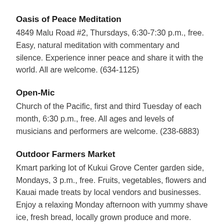Oasis of Peace Meditation
4849 Malu Road #2, Thursdays, 6:30-7:30 p.m., free. Easy, natural meditation with commentary and silence. Experience inner peace and share it with the world. All are welcome. (634-1125)
Open-Mic
Church of the Pacific, first and third Tuesday of each month, 6:30 p.m., free. All ages and levels of musicians and performers are welcome. (238-6883)
Outdoor Farmers Market
Kmart parking lot of Kukui Grove Center garden side, Mondays, 3 p.m., free. Fruits, vegetables, flowers and Kauai made treats by local vendors and businesses. Enjoy a relaxing Monday afternoon with yummy shave ice, fresh bread, locally grown produce and more. Plus, the SNAP/EBT program is now accepted at the Monday Market.